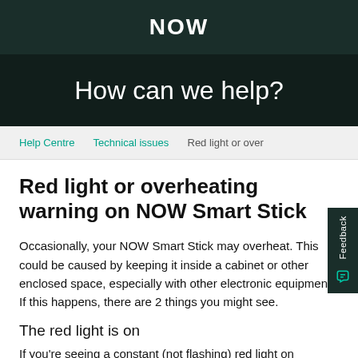NOW
How can we help?
Help Centre  Technical issues  Red light or over
Red light or overheating warning on NOW Smart Stick
Occasionally, your NOW Smart Stick may overheat. This could be caused by keeping it inside a cabinet or other enclosed space, especially with other electronic equipment. If this happens, there are 2 things you might see.
The red light is on
If you're seeing a constant (not flashing) red light on